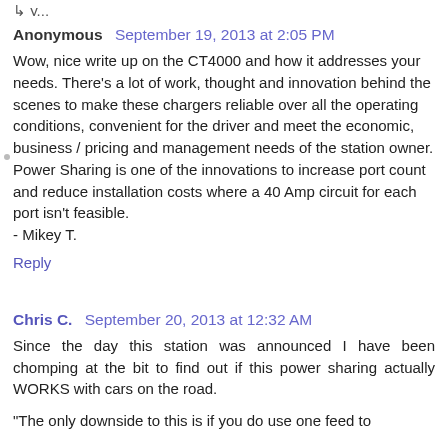Anonymous September 19, 2013 at 2:05 PM
Wow, nice write up on the CT4000 and how it addresses your needs. There's a lot of work, thought and innovation behind the scenes to make these chargers reliable over all the operating conditions, convenient for the driver and meet the economic, business / pricing and management needs of the station owner. Power Sharing is one of the innovations to increase port count and reduce installation costs where a 40 Amp circuit for each port isn't feasible.
- Mikey T.
Reply
Chris C. September 20, 2013 at 12:32 AM
Since the day this station was announced I have been chomping at the bit to find out if this power sharing actually WORKS with cars on the road.
"The only downside to this is if you do use one feed to